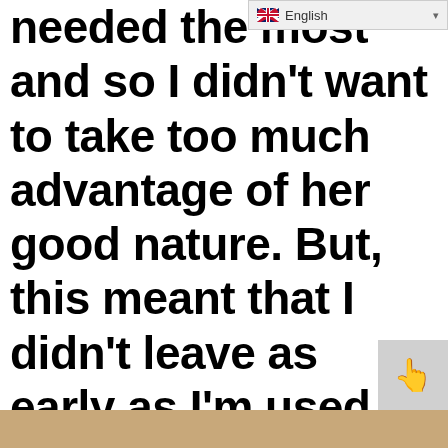[Figure (screenshot): Language selector bar showing English with flag icon and dropdown arrow]
needed the most and so I didn't want to take too much advantage of her good nature. But, this meant that I didn't leave as early as I'm used to and also had